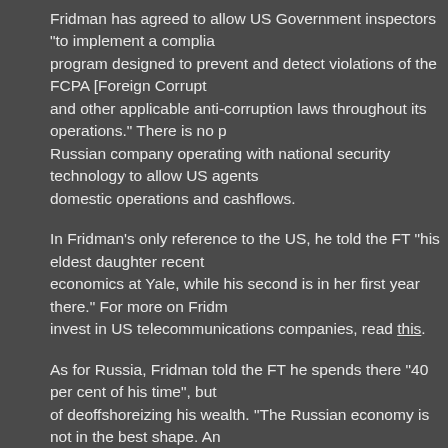Fridman has agreed to allow US Government inspectors "to implement a compliance program designed to prevent and detect violations of the FCPA [Foreign Corrupt Practices Act] and other applicable anti-corruption laws throughout its operations." There is no precedent for a Russian company operating with national security technology to allow US agents to review its domestic operations and cashflows.
In Fridman's only reference to the US, he told the FT "his eldest daughter recently studied economics at Yale, while his second is in her first year there." For more on Fridman's attempt to invest in US telecommunications companies, read this.
As for Russia, Fridman told the FT he spends there "40 per cent of his time", but spoke of deoffshoreizing his wealth. "The Russian economy is not in the best shape. And it would be inappropriate to put all our eggs in one basket."
For a newspaper which has made its editorial duty to sound alarms about Russia, Vladimir Putin's campaigns in Ukraine and Syria, and threats throughout Europe, there is nothing but FT respect for Fridman's wealth — and reticence about his relationship to the Kremlin. "He avoids outright criticism of Putin," reported Chazan over Fridman's double espresso. He said that Russia 'must restructure its economy, to make it more open for investment, for business. There should be privatisation, less domination of state businesses'."
Chazan omitted to ask why Fridman has not been present at the annual oligarchs' meeting Putin hosts at the Kremlin every December. For those guest lists, read this. Chazan quoted Fridman as saying: " 'We have an ideology not to be involved in politics,' Mr Fridman told me. 'I never tried to become an important or influential person, like many other Russian businessmen. It's too risky in Russia.' Trying to get a job in government was also out of the question. 'I couldn't be a minister with my Jewish roots. My mother told me it's not for you.'"